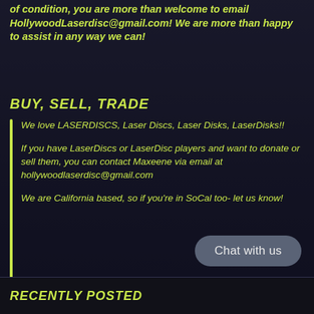of condition, you are more than welcome to email HollywoodLaserdisc@gmail.com! We are more than happy to assist in any way we can!
BUY, SELL, TRADE
We love LASERDISCS, Laser Discs, Laser Disks, LaserDisks!!
If you have LaserDiscs or LaserDisc players and want to donate or sell them, you can contact Maxeene via email at hollywoodlaserdisc@gmail.com
We are California based, so if you're in SoCal too- let us know!
Chat with us
RECENTLY POSTED